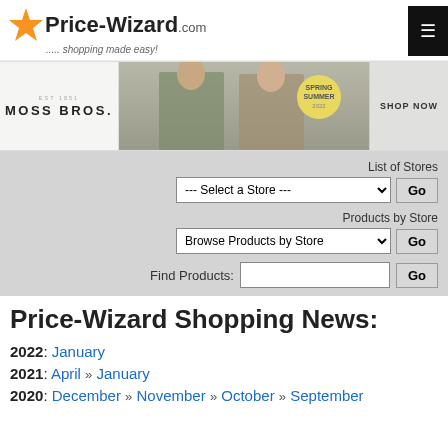[Figure (logo): Price-Wizard.com logo with orange star burst and tagline '..... shopping made easy!']
[Figure (photo): Moss Bros. Spring/Summer advertisement banner with two men in suits and 'Shop Now' text]
List of Stores
--- Select a Store ---
Products by Store
Browse Products by Store
Find Products:
Price-Wizard Shopping News:
2022: January
2021: April » January
2020: December » November » October » September